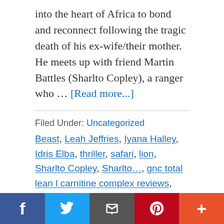into the heart of Africa to bond and reconnect following the tragic death of his ex-wife/their mother. He meets up with friend Martin Battles (Sharlto Copley), a ranger who … [Read more...]
Filed Under: Uncategorized
Beast, Leah Jeffries, Iyana Halley, Idris Elba, thriller, safari, lion, Sharlto Copley, Sharlto…, gnc total lean l carnitine complex reviews, fuel beast wheels jeep wrangler, fuel beast wheels tacoma, fuel beast wheels 4runner, z shelter survival back wheel, reinvent the wheel in french, xkcd reinvent the wheel, lakme 9to5 reinvent primer + matte powder foundation compact